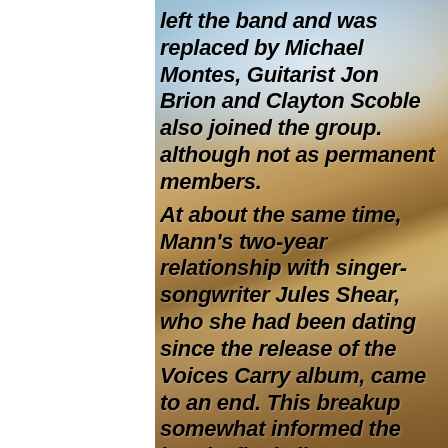left the band and was replaced by Michael Montes, Guitarist Jon Brion and Clayton Scoble also joined the group. although not as permanent members. At about the same time, Mann's two-year relationship with singer-songwriter Jules Shear, who she had been dating since the release of the Voices Carry album, came to an end. This breakup somewhat informed the band's final album, 1988's "Everything's different Now," particularly in the song "J for Jules" though Mann insisted that not...